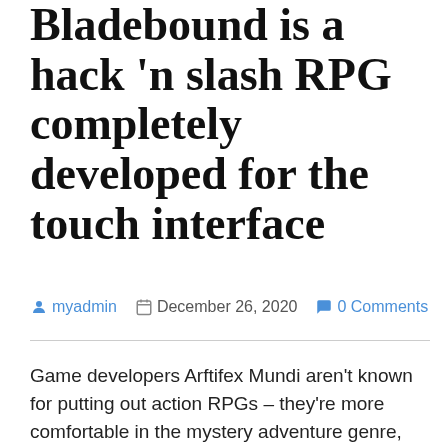Bladebound is a hack 'n slash RPG completely developed for the touch interface
myadmin   December 26, 2020   0 Comments
Game developers Arftifex Mundi aren't known for putting out action RPGs – they're more comfortable in the mystery adventure genre, and in that they've done a number of good ones. But surprisingly, Bladebound is an enjoyable RPG, pointing back to original hack 'n slash hits such as Diablo and